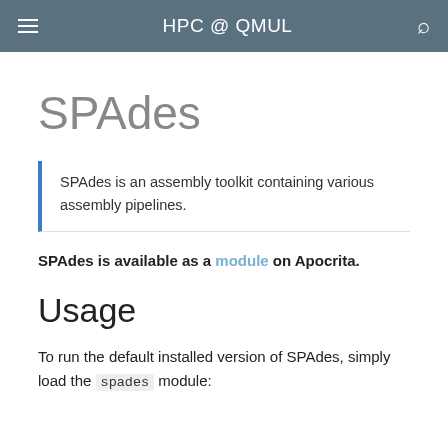HPC @ QMUL
SPAdes
SPAdes is an assembly toolkit containing various assembly pipelines.
SPAdes is available as a module on Apocrita.
Usage
To run the default installed version of SPAdes, simply load the spades module: